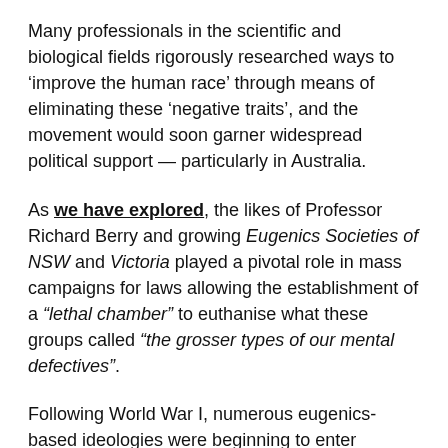Many professionals in the scientific and biological fields rigorously researched ways to ‘improve the human race’ through means of eliminating these ‘negative traits’, and the movement would soon garner widespread political support — particularly in Australia.
As we have explored, the likes of Professor Richard Berry and growing Eugenics Societies of NSW and Victoria played a pivotal role in mass campaigns for laws allowing the establishment of a “lethal chamber” to euthanise what these groups called “the grosser types of our mental defectives”.
Following World War I, numerous eugenics-based ideologies were beginning to enter mainstream societies across the world. However, after Hitler would adopt these concepts and implement an aggressive form of the concept, the world grew sour and a new